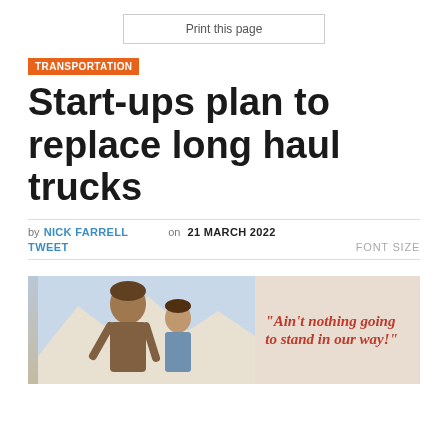Print this page
TRANSPORTATION
Start-ups plan to replace long haul trucks
by NICK FARRELL on 21 MARCH 2022
TWEET   FONT SIZE
[Figure (photo): Movie poster style image showing two people with mountains in background, with orange text quote: "Ain't nothing going to stand in our way!"]